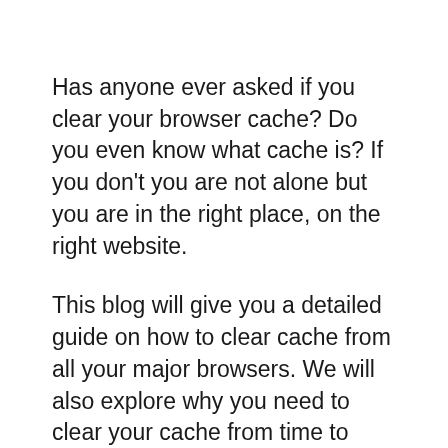Has anyone ever asked if you clear your browser cache? Do you even know what cache is? If you don't you are not alone but you are in the right place, on the right website.
This blog will give you a detailed guide on how to clear cache from all your major browsers. We will also explore why you need to clear your cache from time to time and provide some of the many benefits for doing this regularly. But first thing's first